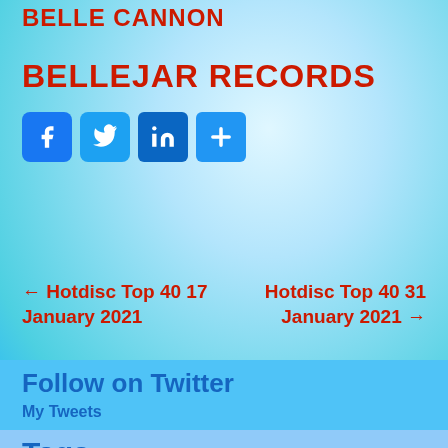BELLE CANNON
BELLEJAR RECORDS
[Figure (other): Social media share buttons: Facebook, Twitter, LinkedIn, and a plus/add button]
← Hotdisc Top 40 17 January 2021
Hotdisc Top 40 31 January 2021 →
Follow on Twitter
My Tweets
Tags
album australia belle belle cannon bellejar